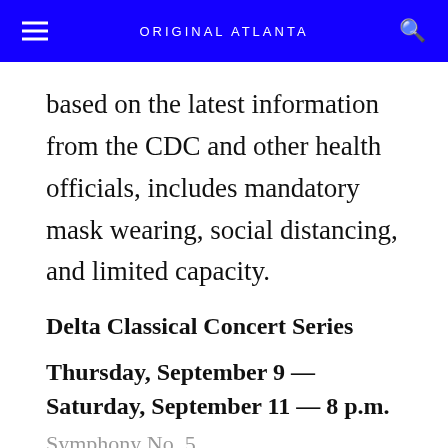ORIGINAL ATLANTA
based on the latest information from the CDC and other health officials, includes mandatory mask wearing, social distancing, and limited capacity.
Delta Classical Concert Series
Thursday, September 9 — Saturday, September 11 — 8 p.m.
Symphony No. 5